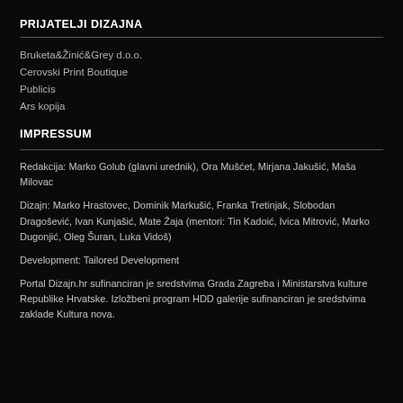PRIJATELJI DIZAJNA
Bruketa&Žinić&Grey d.o.o.
Cerovski Print Boutique
Publicis
Ars kopija
IMPRESSUM
Redakcija: Marko Golub (glavni urednik), Ora Mušćet, Mirjana Jakušić, Maša Milovac
Dizajn: Marko Hrastovec, Dominik Markušić, Franka Tretinjak, Slobodan Dragošević, Ivan Kunjašić, Mate Žaja (mentori: Tin Kadoić, Ivica Mitrović, Marko Dugonjić, Oleg Šuran, Luka Vidoš)
Development: Tailored Development
Portal Dizajn.hr sufinanciran je sredstvima Grada Zagreba i Ministarstva kulture Republike Hrvatske. Izložbeni program HDD galerije sufinanciran je sredstvima zaklade Kultura nova.